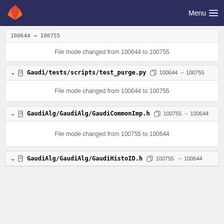GitLab — Menu
100644 → 100755
File mode changed from 100644 to 100755
Gaudi/tests/scripts/test_purge.py  100644 → 100755
File mode changed from 100644 to 100755
GaudiAlg/GaudiAlg/GaudiCommonImp.h  100755 → 100644
File mode changed from 100755 to 100644
GaudiAlg/GaudiAlg/GaudiHistoID.h  100755 → 100644